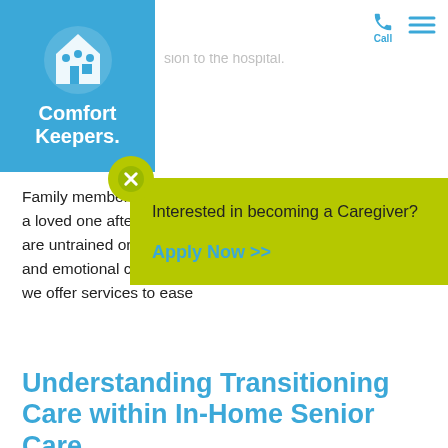Call (phone icon) | hamburger menu
[Figure (logo): Comfort Keepers logo — blue square with house/people icon and white text 'Comfort Keepers.']
owing surgery or a lengthy hospital stay result in a slower recovery or even sion to the hospital.
Family members often a loved one after a hosp are untrained or ill-prepa and emotional challenge we offer services to ease
[Figure (infographic): Yellow-green popup modal with X close button. Contains text 'Interested in becoming a Caregiver?' and a link 'Apply Now >>']
Understanding Transitioning Care within In-Home Senior Care
This specialized in-home senior care helps ease your loved one's transition from a hospital stay to the home. Some of the services Comfort Keepers can provide includes the following: